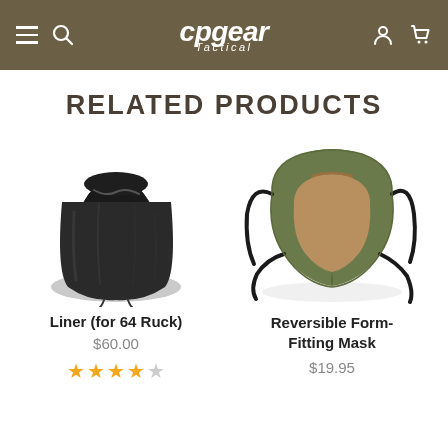cpgear Tactical — navigation header
RELATED PRODUCTS
[Figure (photo): Black drawstring bag / liner product image for Liner (for 64 Ruck)]
Liner (for 64 Ruck)
$60.00
[Figure (other): Four filled stars and one empty star rating]
[Figure (photo): Reversible olive/tan form-fitting face mask with black elastic straps]
Reversible Form-Fitting Mask
$19.95